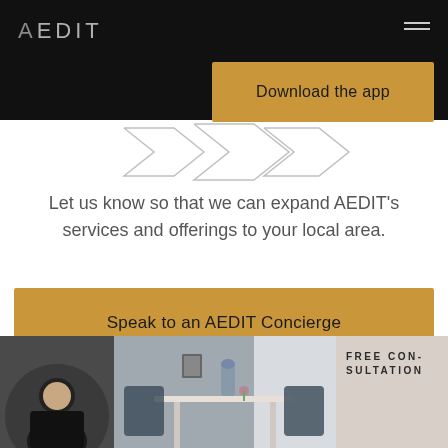AEDIT
Download the app
[Figure (illustration): Three overlapping speech bubble / chat icon outlines in light gray, suggesting conversation or communication]
Let us know so that we can expand AEDIT's services and offerings to your local area.
Speak to an AEDIT Concierge
[Figure (photo): Bottom strip of images: a circular portrait photo of a person in black attire on the left, a photo of a modern interior/waiting room in the middle, and a light beige section on the right with text FREE CONSULTATION]